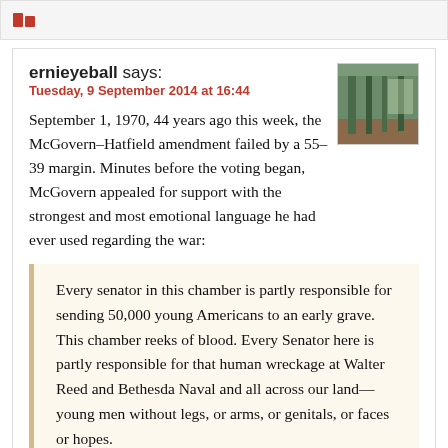ernieyeball says:
Tuesday, 9 September 2014 at 16:44
September 1, 1970, 44 years ago this week, the McGovern–Hatfield amendment failed by a 55–39 margin. Minutes before the voting began, McGovern appealed for support with the strongest and most emotional language he had ever used regarding the war:
Every senator in this chamber is partly responsible for sending 50,000 young Americans to an early grave. This chamber reeks of blood. Every Senator here is partly responsible for that human wreckage at Walter Reed and Bethesda Naval and all across our land—young men without legs, or arms, or genitals, or faces or hopes.

There are not very many of these blasted and broken